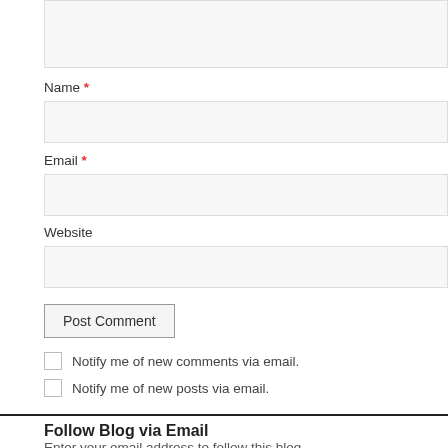[Figure (screenshot): Partial view of a comment form textarea (top portion cut off)]
Name *
[Figure (screenshot): Name input field]
Email *
[Figure (screenshot): Email input field]
Website
[Figure (screenshot): Website input field]
Post Comment
Notify me of new comments via email.
Notify me of new posts via email.
Follow Blog via Email
Enter your email address to follow this blog.